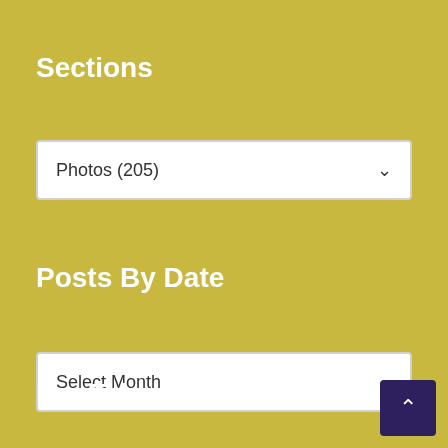Sections
Photos  (205)
Posts By Date
Select Month
For Talon Reporters